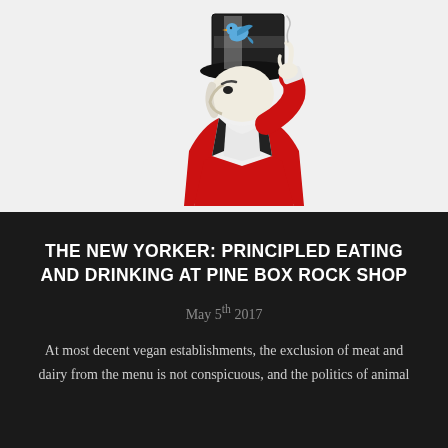[Figure (illustration): Illustration of a Monopoly-style top-hat gentleman in a red jacket, holding up one finger, with a small blue bird nearby. Black and white with red accent colors.]
THE NEW YORKER: PRINCIPLED EATING AND DRINKING AT PINE BOX ROCK SHOP
May 5th 2017
At most decent vegan establishments, the exclusion of meat and dairy from the menu is not conspicuous, and the politics of animal